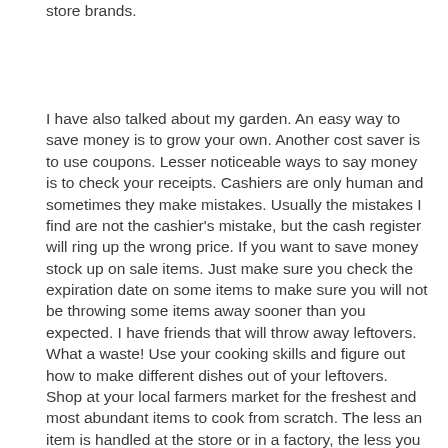store brands.
I have also talked about my garden. An easy way to save money is to grow your own. Another cost saver is to use coupons. Lesser noticeable ways to say money is to check your receipts. Cashiers are only human and sometimes they make mistakes. Usually the mistakes I find are not the cashier's mistake, but the cash register will ring up the wrong price. If you want to save money stock up on sale items. Just make sure you check the expiration date on some items to make sure you will not be throwing some items away sooner than you expected. I have friends that will throw away leftovers. What a waste! Use your cooking skills and figure out how to make different dishes out of your leftovers. Shop at your local farmers market for the freshest and most abundant items to cook from scratch. The less an item is handled at the store or in a factory, the less you must pay for the extra labor to package the item. If you want to save gas, plan your